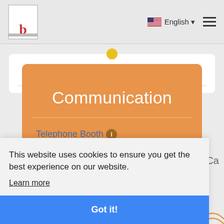[Figure (screenshot): Navigation bar with logo (letter b on stand), English language selector with US flag, and hamburger menu icon]
Communication
Telephone Booth
Mobile Phone Voucher Vending
This website uses cookies to ensure you get the best experience on our website.
Learn more
Got it!